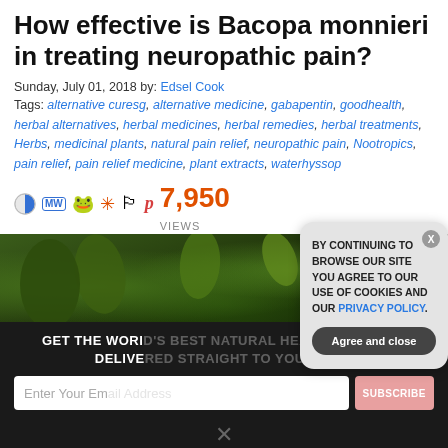How effective is Bacopa monnieri in treating neuropathic pain?
Sunday, July 01, 2018 by: Edsel Cook
Tags: alternative curesg, alternative medicine, gabapentin, goodhealth, herbal alternatives, herbal medicines, herbal remedies, herbal treatments, Herbs, medicinal plants, natural pain relief, neuropathic pain, Nootropics, pain relief, pain relief medicine, plant extracts, waterhyssop
7,950 VIEWS
[Figure (photo): Close-up of green Bacopa monnieri plant leaves on dark background]
GET THE WORLD'S BEST NATURAL HEALTH NEWSLETTER DELIVERED STRAIGHT TO YOUR INBOX
BY CONTINUING TO BROWSE OUR SITE YOU AGREE TO OUR USE OF COOKIES AND OUR PRIVACY POLICY.
Agree and close